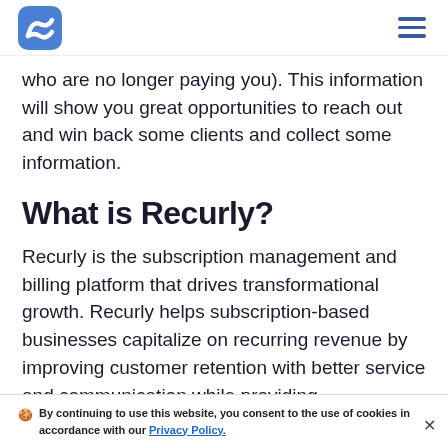Recurly logo and navigation menu
who are no longer paying you). This information will show you great opportunities to reach out and win back some clients and collect some information.
What is Recurly?
Recurly is the subscription management and billing platform that drives transformational growth. Recurly helps subscription-based businesses capitalize on recurring revenue by improving customer retention with better service and communication while providing
🍪 By continuing to use this website, you consent to the use of cookies in accordance with our Privacy Policy.